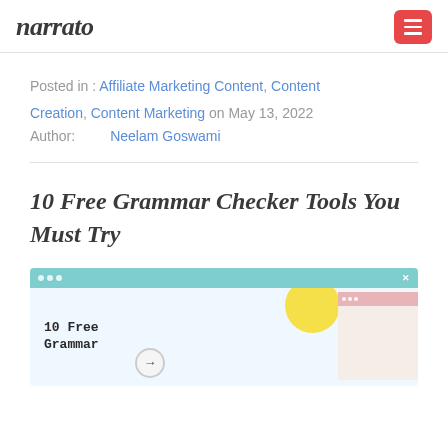narrato
Posted in : Affiliate Marketing Content, Content Creation, Content Marketing on May 13, 2022
Author: Neelam Goswami
10 Free Grammar Checker Tools You Must Try
[Figure (illustration): Blog post featured image showing a browser window mockup with the text '10 Free Grammar' and a nested inner browser window, with decorative yellow circle and arrow icon.]